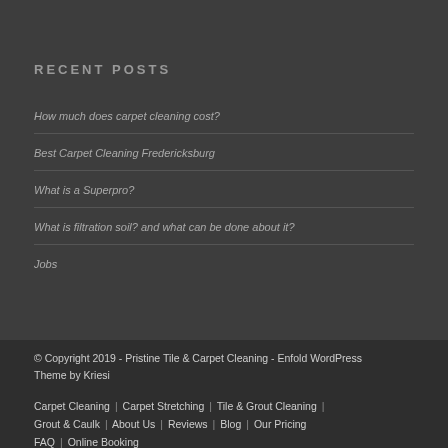RECENT POSTS
How much does carpet cleaning cost?
Best Carpet Cleaning Fredericksburg
What is a Superpro?
What is filtration soil? and what can be done about it?
Jobs
© Copyright 2019 - Pristine Tile & Carpet Cleaning - Enfold WordPress Theme by Kriesi
Carpet Cleaning | Carpet Stretching | Tile & Grout Cleaning | Grout & Caulk | About Us | Reviews | Blog | Our Pricing | FAQ | Online Booking